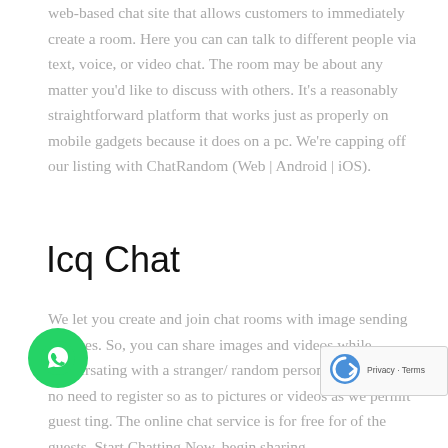web-based chat site that allows customers to immediately create a room. Here you can can talk to different people via text, voice, or video chat. The room may be about any matter you'd like to discuss with others. It's a reasonably straightforward platform that works just as properly on mobile gadgets because it does on a pc. We're capping off our listing with ChatRandom (Web | Android | iOS).
Icq Chat
We let you create and join chat rooms with image sending services. So, you can share images and videos while conversating with a stranger/ random person. Also there's no need to register so as to pictures or videos as we permit guest ting. The online chat service is for free for of the guests. Start Chatting Now, begin sharing